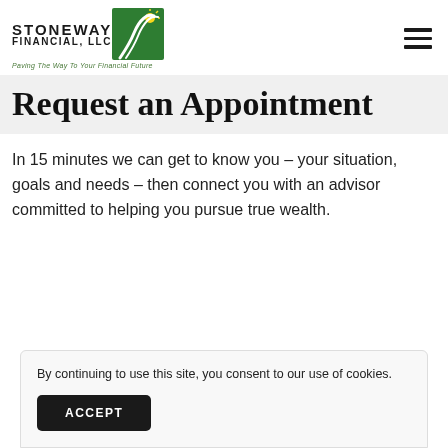STONEWAY FINANCIAL, LLC — Paving The Way To Your Financial Future
Request an Appointment
In 15 minutes we can get to know you – your situation, goals and needs – then connect you with an advisor committed to helping you pursue true wealth.
By continuing to use this site, you consent to our use of cookies.